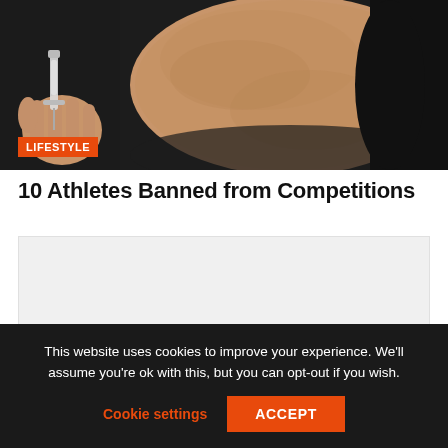[Figure (photo): Close-up photo of a person injecting a syringe into an arm, with a muscular arm in a dark setting suggesting performance-enhancing drug use.]
LIFESTYLE
10 Athletes Banned from Competitions
[Figure (other): Advertisement or content placeholder block (light gray)]
This website uses cookies to improve your experience. We'll assume you're ok with this, but you can opt-out if you wish.
Cookie settings  ACCEPT